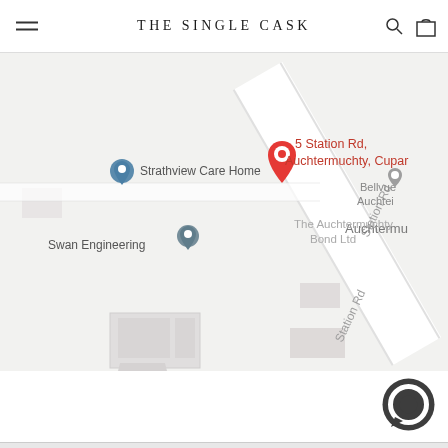THE SINGLE CASK
[Figure (map): Google Maps screenshot showing 5 Station Rd, Auchtermuchty, Cupar location pin in red, with nearby landmarks: Strathview Care Home, Swan Engineering, The Auchtermuchty Bond Ltd, Bellvue Auchtermuchty. Station Rd label visible on diagonal road on right side.]
[Figure (other): Dark circular chat/messaging button icon in bottom right corner of page]